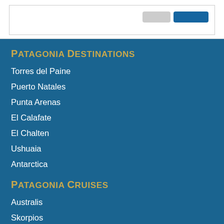Patagonia Destinations
Torres del Paine
Puerto Natales
Punta Arenas
El Calafate
El Chalten
Ushuaia
Antarctica
Patagonia Cruises
Australis
Skorpios